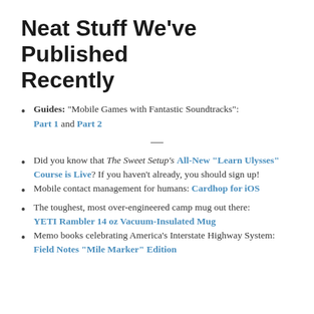Neat Stuff We've Published Recently
Guides: “Mobile Games with Fantastic Soundtracks”: Part 1 and Part 2
Did you know that The Sweet Setup’s All-New “Learn Ulysses” Course is Live? If you haven’t already, you should sign up!
Mobile contact management for humans: Cardhop for iOS
The toughest, most over-engineered camp mug out there: YETI Rambler 14 oz Vacuum-Insulated Mug
Memo books celebrating America’s Interstate Highway System: Field Notes “Mile Marker” Edition